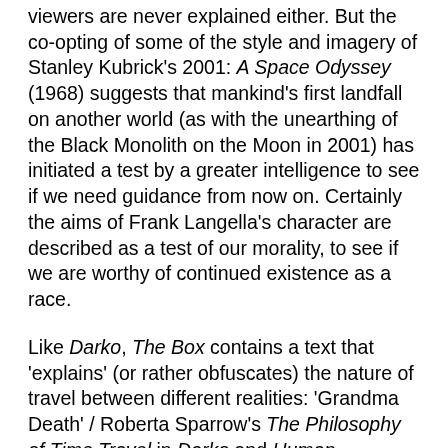viewers are never explained either. But the co-opting of some of the style and imagery of Stanley Kubrick's 2001: A Space Odyssey (1968) suggests that mankind's first landfall on another world (as with the unearthing of the Black Monolith on the Moon in 2001) has initiated a test by a greater intelligence to see if we need guidance from now on. Certainly the aims of Frank Langella's character are described as a test of our morality, to see if we are worthy of continued existence as a race.
Like Darko, The Box contains a text that 'explains' (or rather obfuscates) the nature of travel between different realities: 'Grandma Death' / Roberta Sparrow's The Philosophy of Time Travel in Darko and Human Resource Exploitation Manual, Section 1 – Abstracts (July 1976) in The Box. Both feature exactly the same drawing (which must indicate more than just laziness on the director's behalf) of a human skeleton moving through dimensions and both contain mention of some kind of